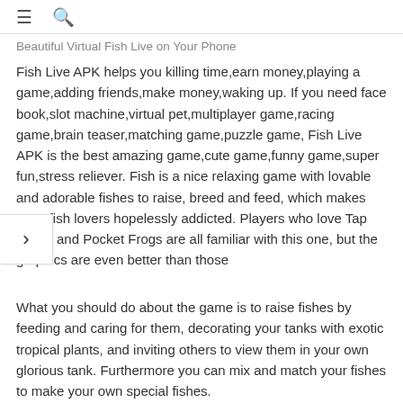≡  🔍
Beautiful Virtual Fish Live on Your Phone
Fish Live APK helps you killing time,earn money,playing a game,adding friends,make money,waking up. If you need face book,slot machine,virtual pet,multiplayer game,racing game,brain teaser,matching game,puzzle game, Fish Live APK is the best amazing game,cute game,funny game,super fun,stress reliever. Fish is a nice relaxing game with lovable and adorable fishes to raise, breed and feed, which makes most fish lovers hopelessly addicted. Players who love Tap Fish 2 and Pocket Frogs are all familiar with this one, but the graphics are even better than those
What you should do about the game is to raise fishes by feeding and caring for them, decorating your tanks with exotic tropical plants, and inviting others to view them in your own glorious tank. Furthermore you can mix and match your fishes to make your own special fishes.